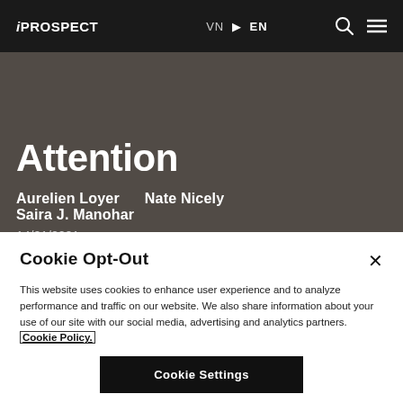iPROSPECT  VN ▶ EN
Attention
Aurelien Loyer    Nate Nicely
Saira J. Manohar
14/01/2021
Cookie Opt-Out
This website uses cookies to enhance user experience and to analyze performance and traffic on our website. We also share information about your use of our site with our social media, advertising and analytics partners. Cookie Policy.
Cookie Settings